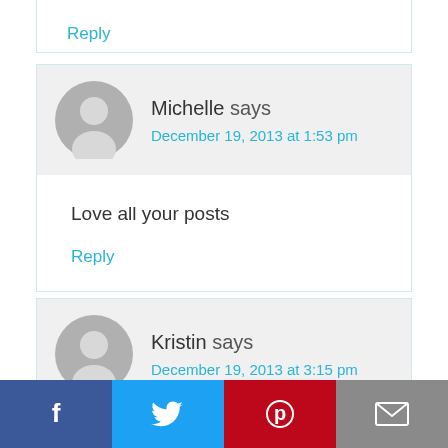Reply
Michelle says
December 19, 2013 at 1:53 pm
Love all your posts
Reply
Kristin says
December 19, 2013 at 3:15 pm
[Figure (infographic): Social sharing bar with Facebook, Twitter, Pinterest, and email buttons]